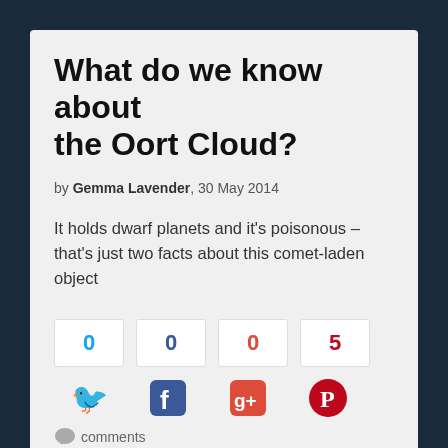What do we know about the Oort Cloud?
by Gemma Lavender, 30 May 2014
It holds dwarf planets and it's poisonous – that's just two facts about this comet-laden object
[Figure (infographic): Social share count boxes showing 0 (Twitter, blue), 0 (Facebook, navy), 0 (Google+, red), 5 (Pinterest, red), with corresponding social media icons below, and a comments icon with 'comments' text]
[Figure (photo): Dark astronomical image showing what appears to be a spherical celestial body against a dark background]